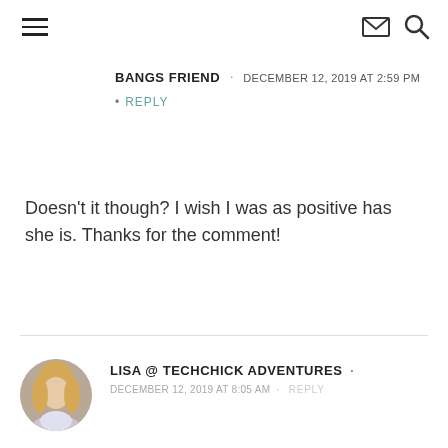Navigation header with hamburger menu, envelope icon, and search icon
BANGS FRIEND · DECEMBER 12, 2019 AT 2:59 PM
• REPLY
Doesn't it though? I wish I was as positive has she is. Thanks for the comment!
LISA @ TECHCHICK ADVENTURES · DECEMBER 12, 2019 AT 8:05 AM · REPLY